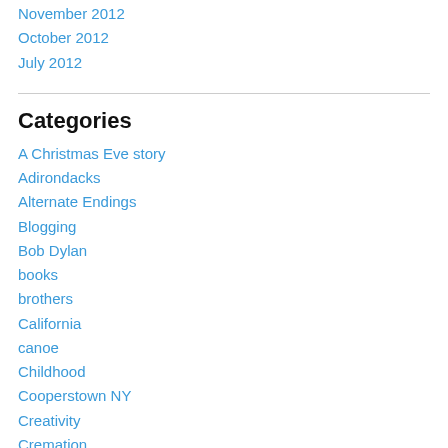November 2012
October 2012
July 2012
Categories
A Christmas Eve story
Adirondacks
Alternate Endings
Blogging
Bob Dylan
books
brothers
California
canoe
Childhood
Cooperstown NY
Creativity
Cremation
daughter